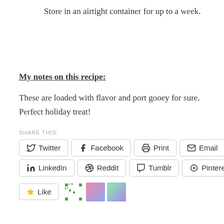Store in an airtight container for up to a week.
My notes on this recipe:
These are loaded with flavor and port gooey for sure. Perfect holiday treat!
SHARE THIS:
Twitter | Facebook | Print | Email | LinkedIn | Reddit | Tumblr | Pinterest 350
Like